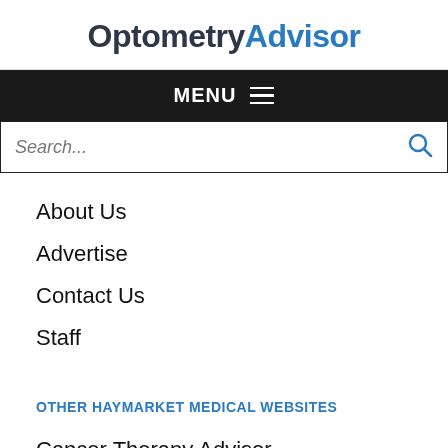OptometryAdvisor
MENU
Search...
About Us
Advertise
Contact Us
Staff
OTHER HAYMARKET MEDICAL WEBSITES
Cancer Therapy Advisor